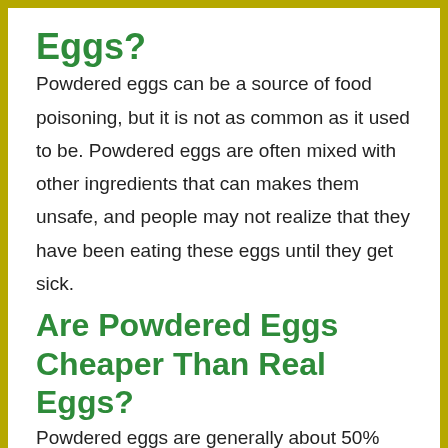Eggs?
Powdered eggs can be a source of food poisoning, but it is not as common as it used to be. Powdered eggs are often mixed with other ingredients that can makes them unsafe, and people may not realize that they have been eating these eggs until they get sick.
Are Powdered Eggs Cheaper Than Real Eggs?
Powdered eggs are generally about 50% cheaper than real eggs.